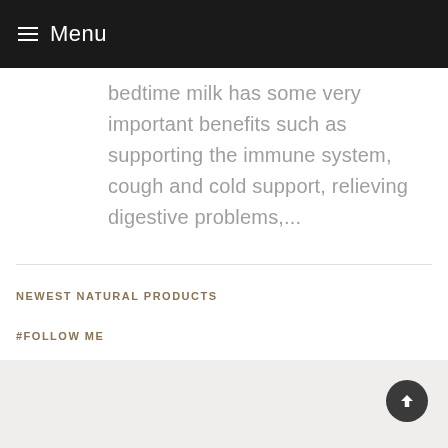Menu
bedtime milk has some very important benefits such as supporting the immune system, cough and cold support, relieving digestive problems,...
NEWEST NATURAL PRODUCTS
#FOLLOW ME
Instagram has returned invalid data.